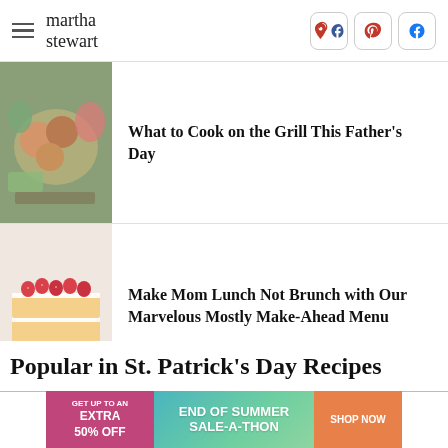martha stewart
What to Cook on the Grill This Father's Day
[Figure (photo): Grilled food spread with burgers, vegetables, and condiments on a plate]
Make Mom Lunch Not Brunch with Our Marvelous Mostly Make-Ahead Menu
[Figure (photo): Stacked strawberry shortcake layers with whipped cream and fresh strawberries]
Popular in St. Patrick's Day Recipes
[Figure (infographic): Advertisement banner: GET UP TO AN EXTRA 50% OFF — END OF SUMMER SALE-A-THON — SHOP NOW]